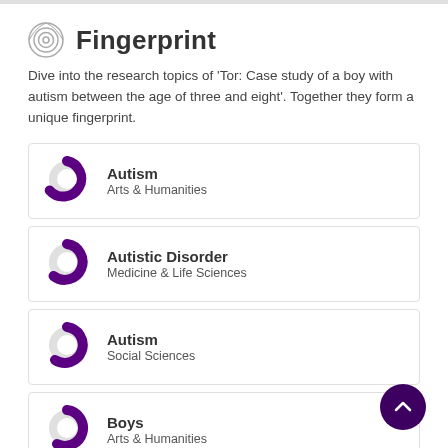Fingerprint
Dive into the research topics of 'Tor: Case study of a boy with autism between the age of three and eight'. Together they form a unique fingerprint.
[Figure (donut-chart): Donut chart showing Autism - Arts & Humanities, approximately 75% filled purple]
Autism
Arts & Humanities
[Figure (donut-chart): Donut chart showing Autistic Disorder - Medicine & Life Sciences, approximately 60% filled purple]
Autistic Disorder
Medicine & Life Sciences
[Figure (donut-chart): Donut chart showing Autism - Social Sciences, approximately 55% filled purple]
Autism
Social Sciences
[Figure (donut-chart): Donut chart showing Boys - Arts & Humanities, approximately 50% filled purple]
Boys
Arts & Humanities